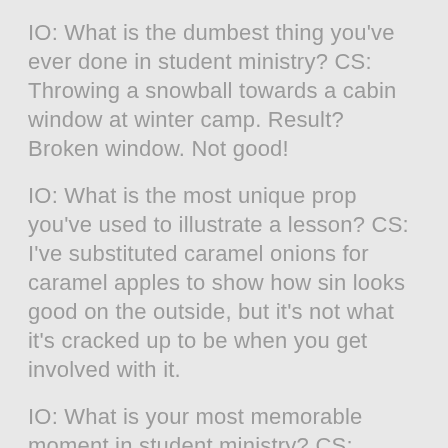IO: What is the dumbest thing you've ever done in student ministry? CS: Throwing a snowball towards a cabin window at winter camp. Result? Broken window. Not good!
IO: What is the most unique prop you've used to illustrate a lesson? CS: I've substituted caramel onions for caramel apples to show how sin looks good on the outside, but it's not what it's cracked up to be when you get involved with it.
IO: What is your most memorable moment in student ministry? CS: Anytime I have baptized a student from an unchurched family.
IO: What song would you say is the